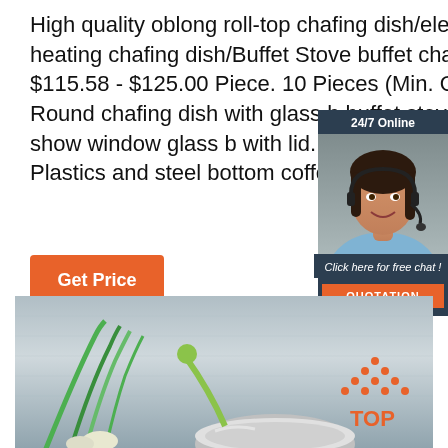High quality oblong roll-top chafing dish/electric heating chafing dish/Buffet Stove buffet chafing dish. $115.58 - $125.00 Piece. 10 Pieces (Min. Order) Round chafing dish with glass buffet stove with show window glass b with lid. $163.73 - $173 ... Plastics and steel bottom coffee decanters coffee p
[Figure (photo): Customer service representative woman with headset smiling, in a 24/7 Online chat widget overlay with dark blue background, 'Click here for free chat!' text and orange QUOTATION button]
[Figure (other): Orange 'Get Price' button]
[Figure (photo): Bottom section showing food items including green onions/scallions and a metal bowl on a blue fabric background, with a TOP logo in the bottom right corner]